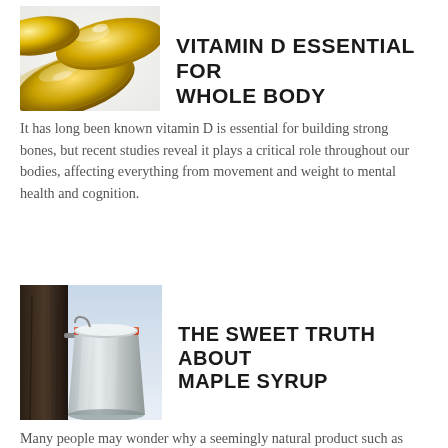[Figure (photo): Close-up of golden vitamin D gel capsules/softgels on a white background]
VITAMIN D ESSENTIAL FOR WHOLE BODY
It has long been known vitamin D is essential for building strong bones, but recent studies reveal it plays a critical role throughout our bodies, affecting everything from movement and weight to mental health and cognition.
[Figure (photo): A metal collection bucket or container attached to a maple tree trunk for collecting maple sap]
THE SWEET TRUTH ABOUT MAPLE SYRUP
Many people may wonder why a seemingly natural product such as maple syrup would need to be certified organic. There are significant differences between conventional and certified organic maple syrup